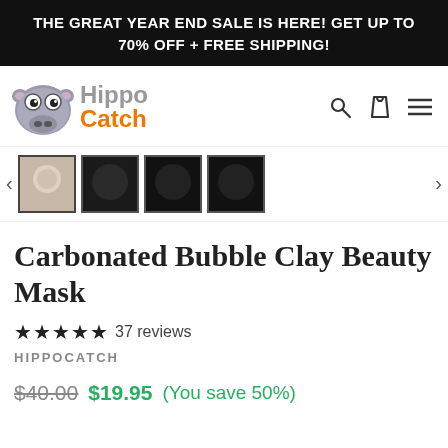THE GREAT YEAR END SALE IS HERE! GET UP TO 70% OFF + FREE SHIPPING!
[Figure (logo): HippoCatch logo with cartoon hippo icon and brand name in gray/orange text]
[Figure (photo): Product thumbnail image strip showing selected thumbnail and three dark product photos with left/right navigation arrows]
Carbonated Bubble Clay Beauty Mask
★★★★★ 37 reviews
HIPPOCATCH
$40.00 $19.95 (You save 50%)